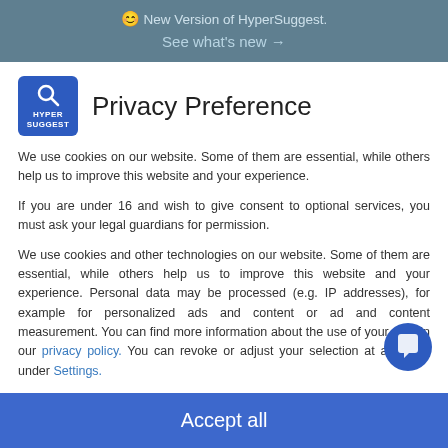😊 New Version of HyperSuggest. See what's new →
Privacy Preference
We use cookies on our website. Some of them are essential, while others help us to improve this website and your experience.
If you are under 16 and wish to give consent to optional services, you must ask your legal guardians for permission.
We use cookies and other technologies on our website. Some of them are essential, while others help us to improve this website and your experience. Personal data may be processed (e.g. IP addresses), for example for personalized ads and content or ad and content measurement. You can find more information about the use of your data in our privacy policy. You can revoke or adjust your selection at any time under Settings.
✓ Essential
Statistics
External Media
Accept all